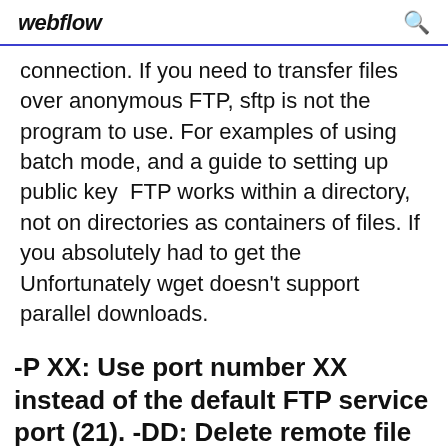webflow
connection. If you need to transfer files over anonymous FTP, sftp is not the program to use. For examples of using batch mode, and a guide to setting up public key  FTP works within a directory, not on directories as containers of files. If you absolutely had to get the Unfortunately wget doesn't support parallel downloads.
-P XX: Use port number XX instead of the default FTP service port (21). -DD: Delete remote file